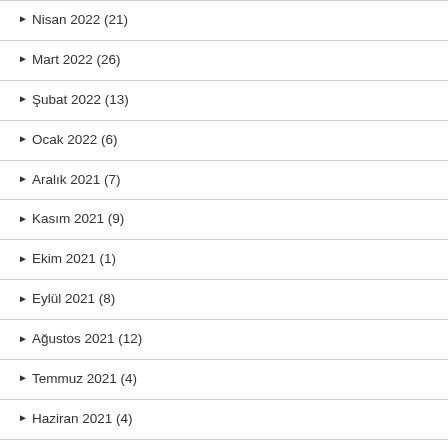Nisan 2022 (21)
Mart 2022 (26)
Şubat 2022 (13)
Ocak 2022 (6)
Aralık 2021 (7)
Kasım 2021 (9)
Ekim 2021 (1)
Eylül 2021 (8)
Ağustos 2021 (12)
Temmuz 2021 (4)
Haziran 2021 (4)
Mayıs 2021 (1)
Nisan 2021 (2)
Mart 2021 (2)